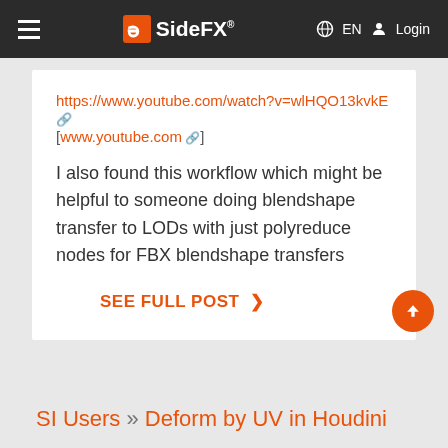SideFX — EN Login
https://www.youtube.com/watch?v=wlHQO13kvkE [www.youtube.com]
I also found this workflow which might be helpful to someone doing blendshape transfer to LODs with just polyreduce nodes for FBX blendshape transfers
SEE FULL POST >
SI Users » Deform by UV in Houdini